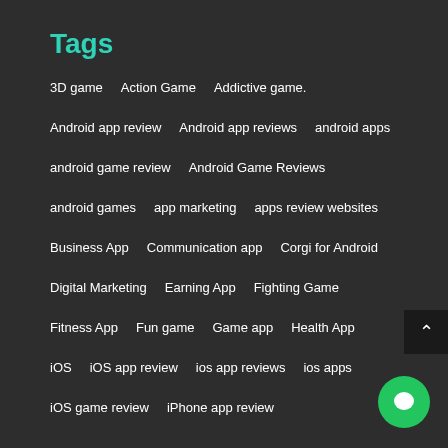Tags
3D game   Action Game   Addictive game.
Android app review   Android app reviews   android apps
android game review   Android Game Reviews
android games   app marketing   apps review websites
Business App   Communication app   Corgi for Android
Digital Marketing   Earning App   Fighting Game
Fitness App   Fun game   Game app   Health App
iOS   iOS app review   ios app reviews   ios apps
iOS game review   iPhone app review